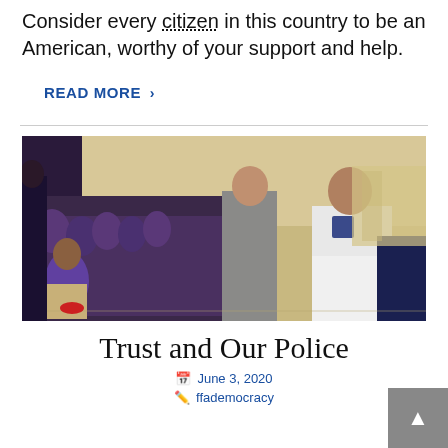Consider every citizen in this country to be an American, worthy of your support and help.
READ MORE >
[Figure (photo): A police officer in a white uniform leans forward to speak with schoolchildren in purple uniforms seated in chairs in a gymnasium. An adult in a grey shirt stands nearby.]
Trust and Our Police
June 3, 2020
ffademocracy